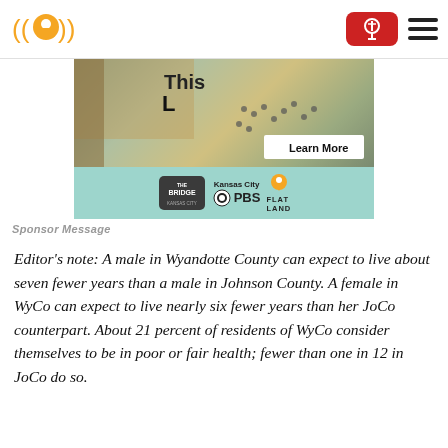Flatland KC logo, donate button, hamburger menu
[Figure (photo): Aerial photograph of people on a plaza/street, with 'This' text and 'Learn More' button overlay]
[Figure (logo): Sponsor strip: The Bridge Kansas City, Kansas City PBS, Flatland logos on teal background]
Sponsor Message
Editor’s note: A male in Wyandotte County can expect to live about seven fewer years than a male in Johnson County. A female in WyCo can expect to live nearly six fewer years than her JoCo counterpart. About 21 percent of residents of WyCo consider themselves to be in poor or fair health; fewer than one in 12 in JoCo do so.